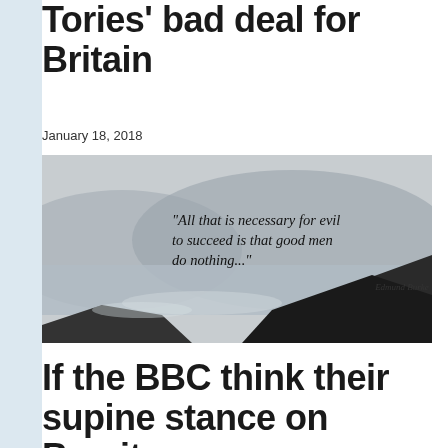Tories' bad deal for Britain
January 18, 2018
[Figure (photo): Black and white coastal landscape photo with overlaid quote: "All that is necessary for evil to succeed is that good men do nothing..." — Edmund Burke]
If the BBC think their supine stance on Brexit